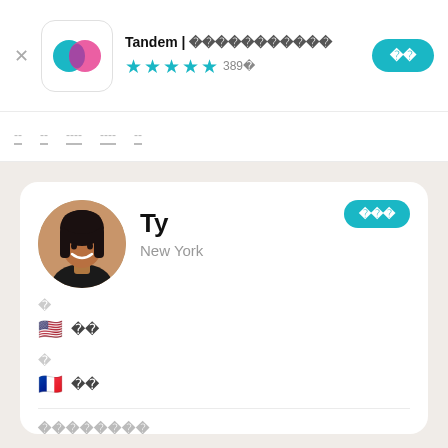Tandem | 언어교환 파트너 찾기 ★★★★☆ 389개
[Figure (screenshot): App screenshot strip showing blurred UI screenshots]
[Figure (photo): Profile photo of Ty, a young woman smiling, from New York]
Ty
New York
🔤
🇺🇸 영어
🔤
🇫🇷 프랑스어
자기 소개